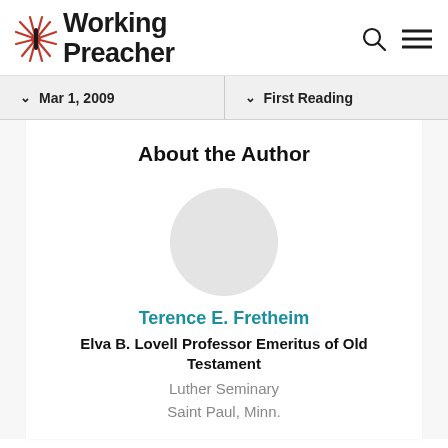Working Preacher
Mar 1, 2009
First Reading
About the Author
[Figure (photo): Author photo placeholder circle]
Terence E. Fretheim
Elva B. Lovell Professor Emeritus of Old Testament
Luther Seminary
Saint Paul, Minn.